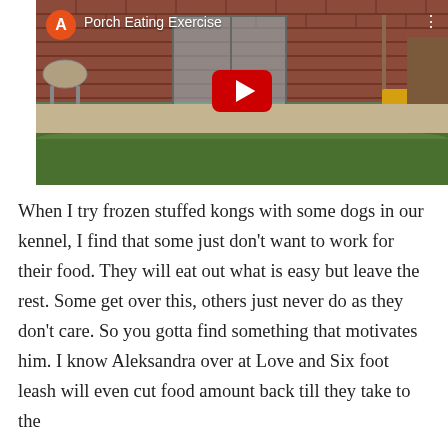[Figure (screenshot): YouTube video thumbnail showing a backyard porch/patio scene with brick wall, glass door, chair on left, shovel and yellow brush on right, green grass at bottom. Video title 'Porch Eating Exercise' shown with orange channel avatar letter A and YouTube play button.]
When I try frozen stuffed kongs with some dogs in our kennel, I find that some just don't want to work for their food. They will eat out what is easy but leave the rest. Some get over this, others just never do as they don't care. So you gotta find something that motivates him. I know Aleksandra over at Love and Six foot leash will even cut food amount back till they take to the